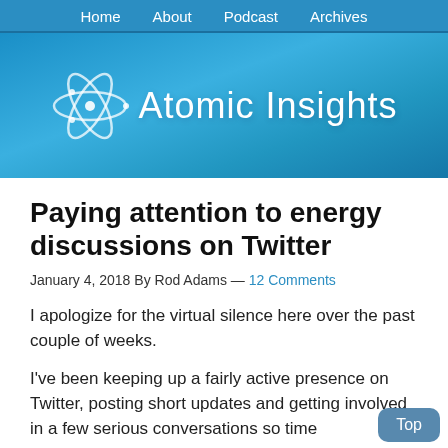Home   About   Podcast   Archives
[Figure (logo): Atomic Insights website banner with atom icon and site name on blue gradient background]
Paying attention to energy discussions on Twitter
January 4, 2018 By Rod Adams — 12 Comments
I apologize for the virtual silence here over the past couple of weeks.
I've been keeping up a fairly active presence on Twitter, posting short updates and getting involved in a few serious conversations so time…